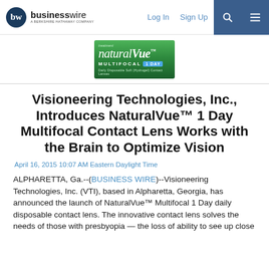businesswire — Log In  Sign Up
[Figure (logo): NaturalVue Treatment Multifocal 1 Day — Daily Disposable Soft (Hydrogel) Contact Lenses logo on green background]
Visioneering Technologies, Inc., Introduces NaturalVue™ 1 Day Multifocal Contact Lens Works with the Brain to Optimize Vision
April 16, 2015 10:07 AM Eastern Daylight Time
ALPHARETTA, Ga.--(BUSINESS WIRE)--Visioneering Technologies, Inc. (VTI), based in Alpharetta, Georgia, has announced the launch of NaturalVue™ Multifocal 1 Day daily disposable contact lens. The innovative contact lens solves the needs of those with presbyopia — the loss of ability to see up close